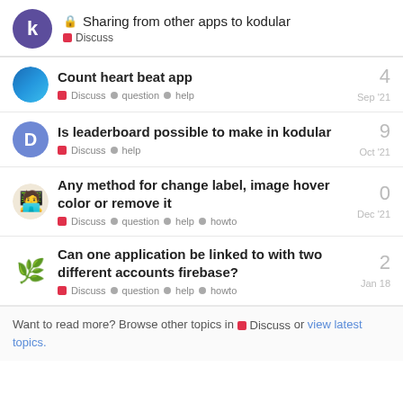🔒 Sharing from other apps to kodular — Discuss
Count heart beat app — 4 replies — Discuss, question, help — Sep '21
Is leaderboard possible to make in kodular — 9 replies — Discuss, help — Oct '21
Any method for change label, image hover color or remove it — 0 replies — Discuss, question, help, howto — Dec '21
Can one application be linked to with two different accounts firebase? — 2 replies — Discuss, question, help, howto — Jan 18
Want to read more? Browse other topics in Discuss or view latest topics.